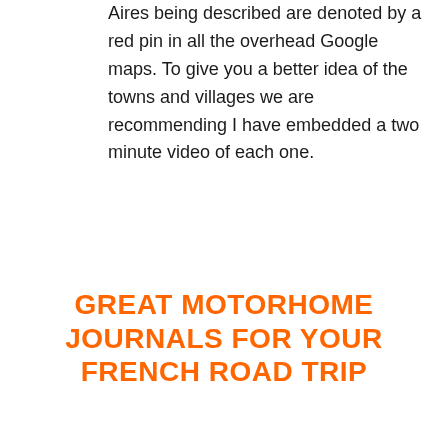Aires being described are denoted by a red pin in all the overhead Google maps. To give you a better idea of the towns and villages we are recommending I have embedded a two minute video of each one.
GREAT MOTORHOME JOURNALS FOR YOUR FRENCH ROAD TRIP
[Figure (illustration): Book cover image showing 'TOURING FRANCE WITH A' text with a folded page effect, including a French flag (blue, white, red vertical stripes) on a silver/grey background]